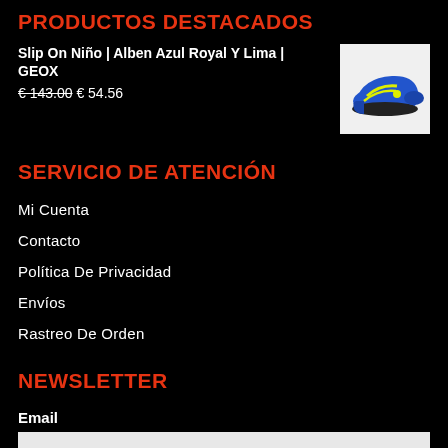PRODUCTOS DESTACADOS
Slip On Niño | Alben Azul Royal Y Lima | GEOX
€143.00 € 54.56
[Figure (photo): Blue and yellow/green GEOX kids slip-on sneaker on white background]
SERVICIO DE ATENCIÓN
Mi Cuenta
Contacto
Política De Privacidad
Envíos
Rastreo De Orden
NEWSLETTER
Email
Subscribe